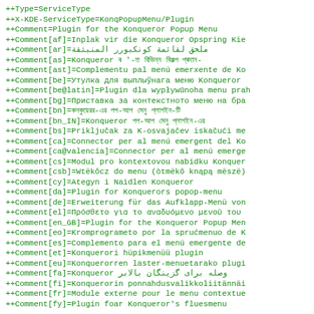++Type=ServiceType
++X-KDE-ServiceType=KonqPopupMenu/Plugin
++Comment=Plugin for the Konqueror Popup Menu
++Comment[af]=Inplak vir die Konqueror Opspring Kie
++Comment[ar]=ملحق لقائمة كونكبورر المنبثقة
++Comment[as]=Konqueror ৰ '-ত বিভিন্ন বিকল্প প্ৰদান-
++Comment[ast]=Complementu pal menú emerxente de Ko
++Comment[be]=Утулка для выплыўнага меню Konqueror
++Comment[be@latin]=Plugin dla vypływūnoha menu prah
++Comment[bg]=Приставка за контекстното меню на бра
++Comment[bn]=কনকুয়েরর-এর পপ-আপ মেনু প্লাগইন-টি
++Comment[bn_IN]=Konqueror পপ-আপ মেনু প্লাগইন-এর
++Comment[bs]=Priključak za K-osvajačev iskačući me
++Comment[ca]=Connector per al menú emergent del Ko
++Comment[ca@valencia]=Connector per al menú emerge
++Comment[cs]=Modul pro kontextovou nabidku Konquer
++Comment[csb]=Wtëkôcz do menu (òtmëkô knąpą mëszë)
++Comment[cy]=Ategyn i Naidlen Konqueror
++Comment[da]=Plugin for Konquerors popop-menu
++Comment[de]=Erweiterung für das Aufklapp-Menü von
++Comment[el]=Πρόσθετο για το αναδυόμενο μενού του
++Comment[en_GB]=Plugin for the Konqueror Popup Men
++Comment[eo]=Kromprogrameto por la sprućmenuo de K
++Comment[es]=Complemento para el menú emergente de
++Comment[et]=Konquerori hüpikmenüü plugin
++Comment[eu]=Konquerorren laster-menuetarako plugi
++Comment[fa]=Konqueror وصله برای گزینگان بالابر
++Comment[fi]=Konquerorin ponnahdusvalikkoliitännäi
++Comment[fr]=Module externe pour le menu contextue
++Comment[fy]=Plugin foar Konqueror's fluesmenu